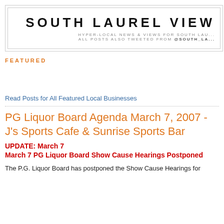SOUTH LAUREL VIEW
HYPER-LOCAL NEWS & VIEWS FOR SOUTH LAU... ALL POSTS ALSO TWEETED FROM @SOUTH_LA...
FEATURED
Read Posts for All Featured Local Businesses
PG Liquor Board Agenda March 7, 2007 - J's Sports Cafe & Sunrise Sports Bar
UPDATE: March 7
March 7 PG Liquor Board Show Cause Hearings Postponed
The P.G. Liquor Board has postponed the Show Cause Hearings for